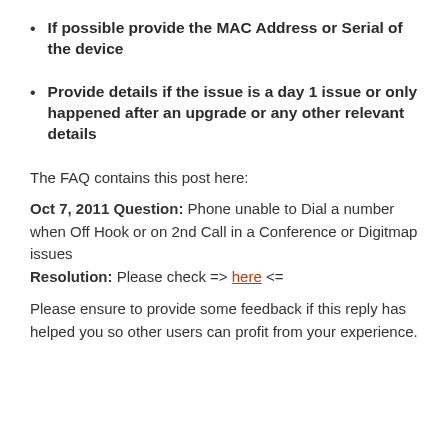If possible provide the MAC Address or Serial of the device
Provide details if the issue is a day 1 issue or only happened after an upgrade or any other relevant details
The FAQ contains this post here:
Oct 7, 2011 Question: Phone unable to Dial a number when Off Hook or on 2nd Call in a Conference or Digitmap issues Resolution: Please check => here <=
Please ensure to provide some feedback if this reply has helped you so other users can profit from your experience.